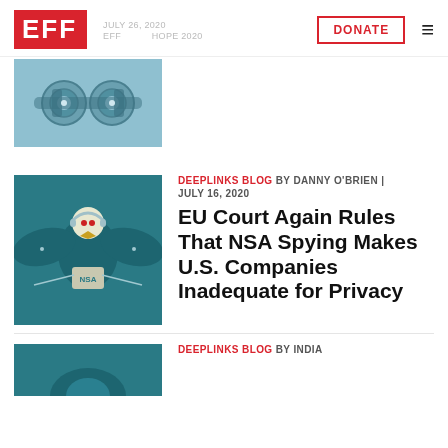EFF | DONATE | EFF JULY 26, 2020 | HOPE 2020
[Figure (illustration): Eye examination machine illustration with mechanical lenses - teal/blue tones]
[Figure (illustration): NSA eagle emblem illustration on teal background - stylized eagle with headphones and NSA seal]
DEEPLINKS BLOG BY DANNY O'BRIEN | JULY 16, 2020
EU Court Again Rules That NSA Spying Makes U.S. Companies Inadequate for Privacy
[Figure (illustration): Partial illustration - bottom article thumbnail, teal background]
DEEPLINKS BLOG BY INDIA